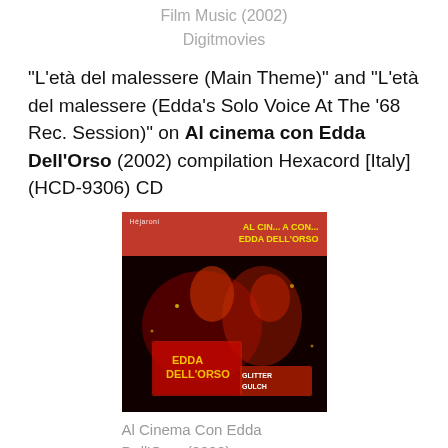Film Music (2002)
Digitmovies
“L’età del malessere (Main Theme)” and “L’età del malessere (Edda’s Solo Voice At The ‘68 Rec. Session)” on Al cinema con Edda Dell’Orso (2002) compilation Hexacord [Italy] (HCD-9306) CD
[Figure (photo): Album cover of Al Cinema Con Edda Dell'Orso (2002) by Hexacord. Red header bar with yellow text reading 'AL CIN... A CON... EDDA DELL'ORSO'. Below is a dark photograph showing illuminated neon signs including 'Glitter Gulch' in a nighttime scene.]
Al Cinema Con Edda
Dell’Orso (2002)
Hexacord
“Omicidio per vocazione” on Barry 7’s Connectors 2